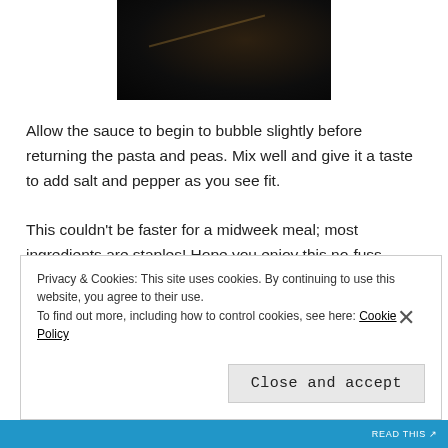[Figure (photo): Dark overhead photo of food, partially visible at top of page]
Allow the sauce to begin to bubble slightly before returning the pasta and peas. Mix well and give it a taste to add salt and pepper as you see fit.
This couldn't be faster for a midweek meal; most ingredients are staples! Hope you enjoy this no-fuss version of a classic tuna pasta. If you just can't live without the cheesy-baked top, go ahead and throw it
Privacy & Cookies: This site uses cookies. By continuing to use this website, you agree to their use.
To find out more, including how to control cookies, see here: Cookie Policy
Close and accept